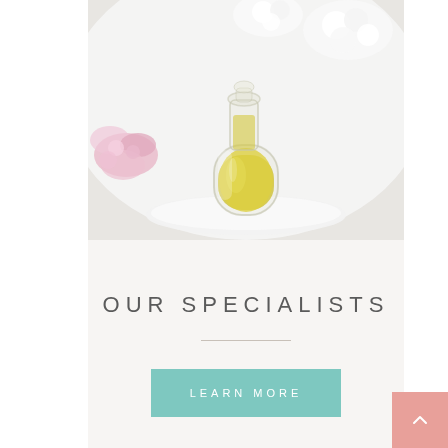[Figure (photo): A glass bottle filled with yellow essential oil or olive oil, surrounded by white and pink flowers on a white surface]
OUR SPECIALISTS
LEARN MORE